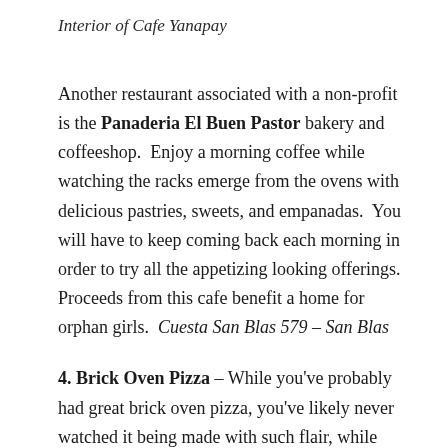Interior of Cafe Yanapay
Another restaurant associated with a non-profit is the Panaderia El Buen Pastor bakery and coffeeshop.  Enjoy a morning coffee while watching the racks emerge from the ovens with delicious pastries, sweets, and empanadas.  You will have to keep coming back each morning in order to try all the appetizing looking offerings.  Proceeds from this cafe benefit a home for orphan girls.  Cuesta San Blas 579 – San Blas
4. Brick Oven Pizza – While you've probably had great brick oven pizza, you've likely never watched it being made with such flair, while